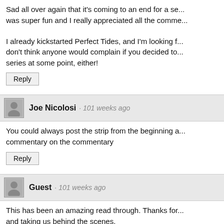Sad all over again that it's coming to an end for a se... was super fun and I really appreciated all the comme...
I already kickstarted Perfect Tides, and I'm looking f... don't think anyone would complain if you decided to... series at some point, either!
Reply
Joe Nicolosi · 101 weeks ago
You could always post the strip from the beginning a... commentary on the commentary
Reply
Guest · 101 weeks ago
This has been an amazing read through. Thanks for... and taking us behind the scenes.
Reply
EiDrian · 101 weeks ago